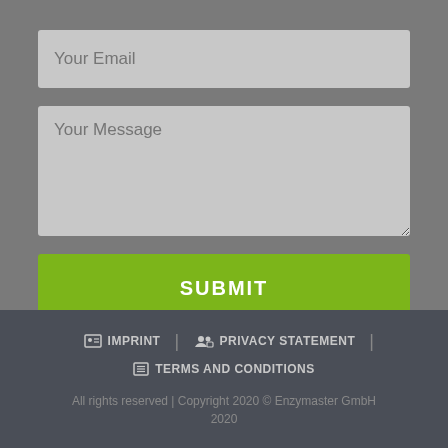[Figure (screenshot): Contact form with email input field showing placeholder 'Your Email']
[Figure (screenshot): Textarea input field showing placeholder 'Your Message']
[Figure (screenshot): Green SUBMIT button]
IMPRINT | PRIVACY STATEMENT | TERMS AND CONDITIONS
All rights reserved | Copyright 2020 © Enzymaster GmbH 2020